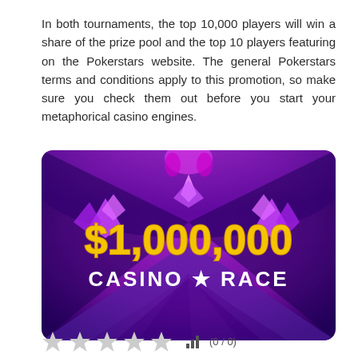In both tournaments, the top 10,000 players will win a share of the prize pool and the top 10 players featuring on the Pokerstars website. The general Pokerstars terms and conditions apply to this promotion, so make sure you check them out before you start your metaphorical casino engines.
[Figure (illustration): Promotional banner for $1,000,000 Casino Race on a purple background with geometric crystal shapes and a checkered floor. Gold text reads '$1,000,000' and white text below reads 'CASINO ★ RACE'.]